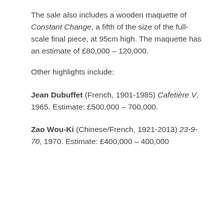The sale also includes a wooden maquette of Constant Change, a fifth of the size of the full-scale final piece, at 95cm high. The maquette has an estimate of £80,000 – 120,000.
Other highlights include:
Jean Dubuffet (French, 1901-1985) Cafetière V, 1965. Estimate: £500,000 – 700,000.
Zao Wou-Ki (Chinese/French, 1921-2013) 23-9-70, 1970. Estimate: £400,000 – 400,000